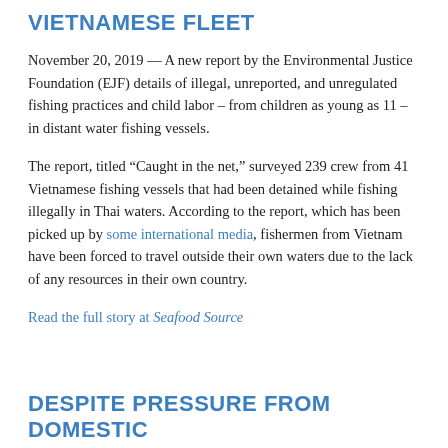VIETNAMESE FLEET
November 20, 2019 — A new report by the Environmental Justice Foundation (EJF) details of illegal, unreported, and unregulated fishing practices and child labor – from children as young as 11 – in distant water fishing vessels.
The report, titled “Caught in the net,” surveyed 239 crew from 41 Vietnamese fishing vessels that had been detained while fishing illegally in Thai waters. According to the report, which has been picked up by some international media, fishermen from Vietnam have been forced to travel outside their own waters due to the lack of any resources in their own country.
Read the full story at Seafood Source
DESPITE PRESSURE FROM DOMESTIC